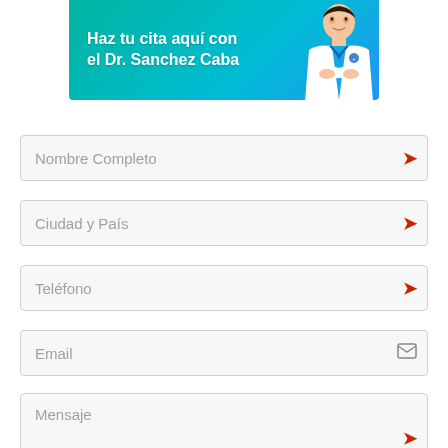[Figure (illustration): Banner with teal/blue gradient background showing text 'Haz tu cita aquí con el Dr. Sanchez Caba' and a doctor in white coat on the right side]
Nombre Completo
Ciudad y País
Teléfono
Email
Mensaje